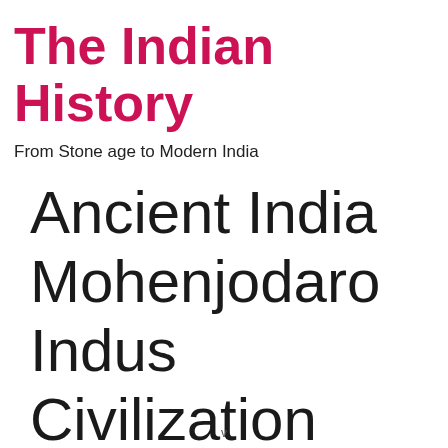The Indian History
From Stone age to Modern India
Ancient India Mohenjodaro Indus Civilization
v